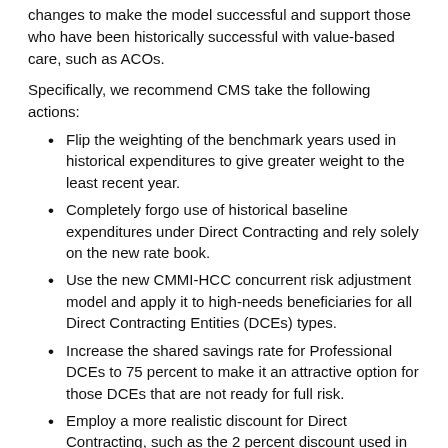changes to make the model successful and support those who have been historically successful with value-based care, such as ACOs.
Specifically, we recommend CMS take the following actions:
Flip the weighting of the benchmark years used in historical expenditures to give greater weight to the least recent year.
Completely forgo use of historical baseline expenditures under Direct Contracting and rely solely on the new rate book.
Use the new CMMI-HCC concurrent risk adjustment model and apply it to high-needs beneficiaries for all Direct Contracting Entities (DCEs) types.
Increase the shared savings rate for Professional DCEs to 75 percent to make it an attractive option for those DCEs that are not ready for full risk.
Employ a more realistic discount for Direct Contracting, such as the 2 percent discount used in the Next Gen ACO Model.